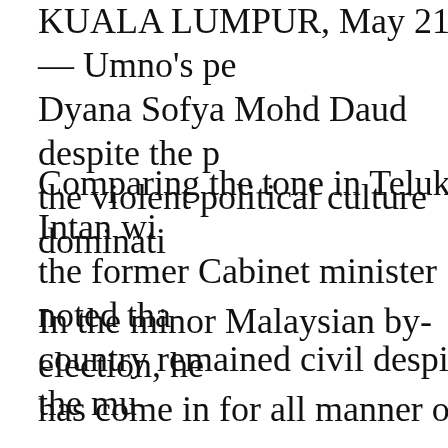KUALA LUMPUR, May 21 — Umno's pe... Dyana Sofya Mohd Daud despite the p... the violent political culture dominati...
Comparing the tone in Teluk Intan wi... the former Cabinet minister noted tha... country remained civil despite the mu...
In the minor Malaysian by-election, he... has come in for all manner of persona... labelled her a traitor to the party, a se... DAP, among others.